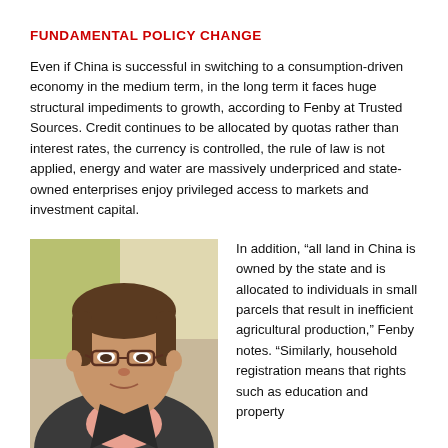FUNDAMENTAL POLICY CHANGE
Even if China is successful in switching to a consumption-driven economy in the medium term, in the long term it faces huge structural impediments to growth, according to Fenby at Trusted Sources. Credit continues to be allocated by quotas rather than interest rates, the currency is controlled, the rule of law is not applied, energy and water are massively underpriced and state-owned enterprises enjoy privileged access to markets and investment capital.
[Figure (photo): Headshot of a man wearing glasses and a suit jacket with a pink shirt, photographed in front of a light background.]
In addition, “all land in China is owned by the state and is allocated to individuals in small parcels that result in inefficient agricultural production,” Fenby notes. “Similarly, household registration means that rights such as education and property